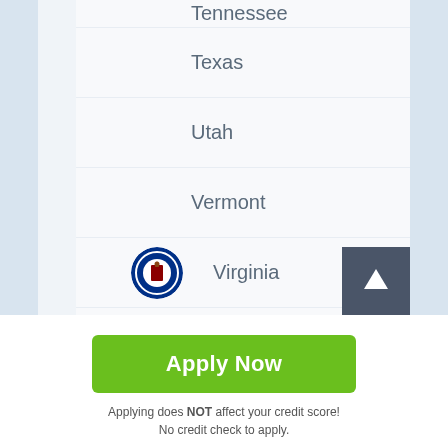Tennessee
Texas
Utah
Vermont
Virginia
Washington
Apply Now
Applying does NOT affect your credit score! No credit check to apply.